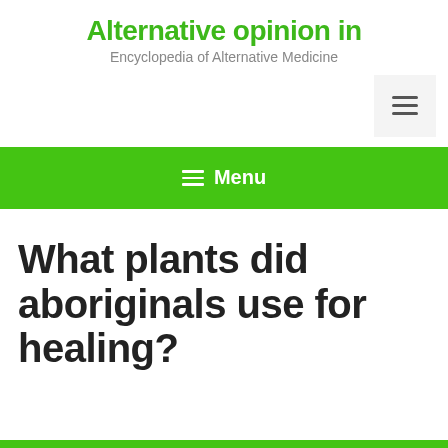Alternative opinion in... Encyclopedia of Alternative Medicine
What plants did aboriginals use for healing?